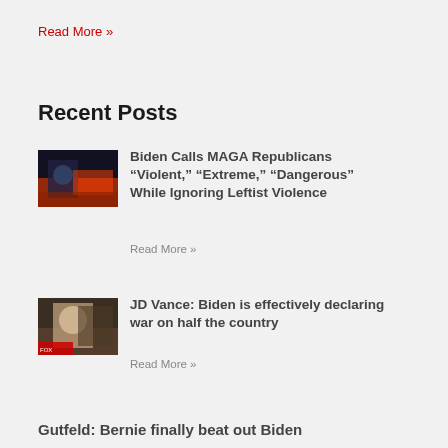Read More »
Recent Posts
[Figure (photo): Thumbnail image showing Biden speaking with fire in background]
Biden Calls MAGA Republicans "Violent," "Extreme," "Dangerous" While Ignoring Leftist Violence
Read More »
[Figure (photo): Thumbnail image of JD Vance on Fox News]
JD Vance: Biden is effectively declaring war on half the country
Read More »
Gutfeld: Bernie finally beat out Biden